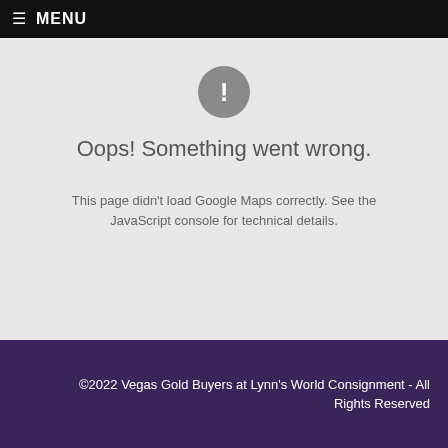≡ MENU
[Figure (illustration): Gray circle with white exclamation mark error icon]
Oops! Something went wrong.
This page didn't load Google Maps correctly. See the JavaScript console for technical details.
©2022 Vegas Gold Buyers at Lynn's World Consignment - All Rights Reserved